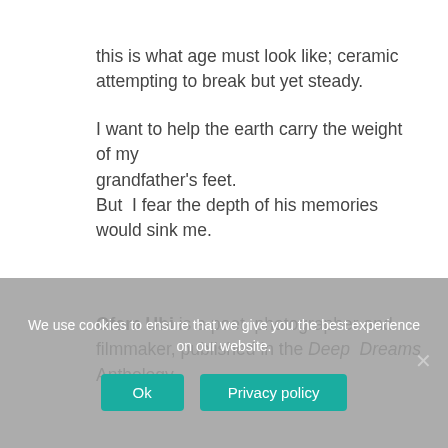this is what age must look like; ceramic attempting to break but yet steady.
I want to help the earth carry the weight of my grandfather's feet.
But  I fear the depth of his memories would sink me.
Ofem Ubi is a poet, photographer and filmmaker, published in the Deep Dreams Anthology
We use cookies to ensure that we give you the best experience on our website.